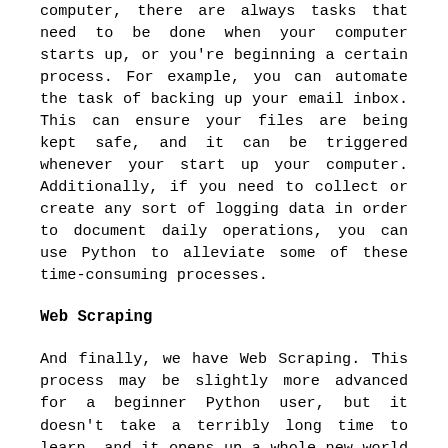computer, there are always tasks that need to be done when your computer starts up, or you're beginning a certain process. For example, you can automate the task of backing up your email inbox. This can ensure your files are being kept safe, and it can be triggered whenever your start up your computer. Additionally, if you need to collect or create any sort of logging data in order to document daily operations, you can use Python to alleviate some of these time-consuming processes.
Web Scraping
And finally, we have Web Scraping. This process may be slightly more advanced for a beginner Python user, but it doesn't take a terribly long time to learn, and it opens up a whole new world of opportunity in terms of data